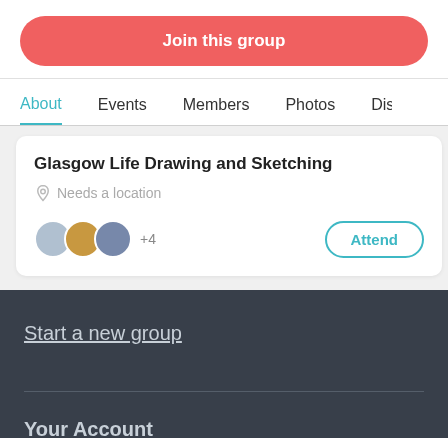Join this group
About  Events  Members  Photos  Disc
Glasgow Life Drawing and Sketching
Needs a location
+4
Attend
Let's Pl
Nee
Start a new group
Your Account